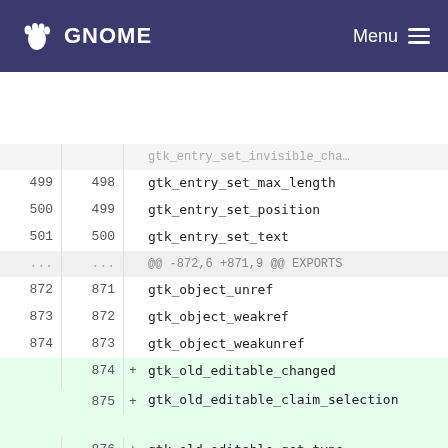GNOME  Menu
| old | new | +/- | code |
| --- | --- | --- | --- |
|  |  |  | gtk_entry_set_invisible_char (truncated) |
| 499 | 498 |  | gtk_entry_set_max_length |
| 500 | 499 |  | gtk_entry_set_position |
| 501 | 500 |  | gtk_entry_set_text |
| ... | ... |  | @@ -872,6 +871,9 @@ EXPORTS |
| 872 | 871 |  | gtk_object_unref |
| 873 | 872 |  | gtk_object_weakref |
| 874 | 873 |  | gtk_object_weakunref |
|  | 874 | + | gtk_old_editable_changed |
|  | 875 | + | gtk_old_editable_claim_selection |
|  | 876 | + | gtk_old_editable_get_type |
| 875 | 877 |  | gtk_option_menu_get_history |
| 876 | 878 |  | gtk_option_menu_get_menu |
| 877 | 879 |  | gtk_option_menu_get_type |
| ... | ... |  | @@ -1209,15 +1211,32 @@ EXPORTS |
| 1209 | 1211 |  | gtk_text_unknown_char_utf8 |
| 1210 | 1212 |  | gtk_text_view_buffer_to_window_coords |
| 1211 | 1213 |  | gtk_text_view_get_buffer (truncated) |